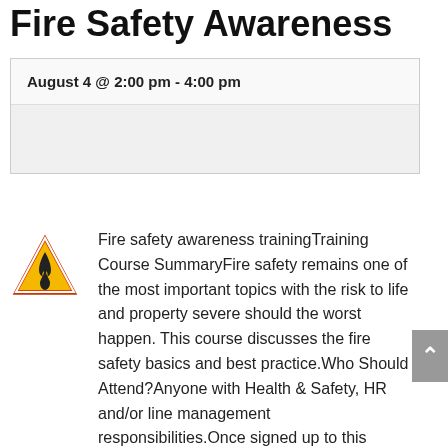Fire Safety Awareness
| Date/Time |  |
| --- | --- |
| August 4 @ 2:00 pm - 4:00 pm |  |
|  |  |
[Figure (illustration): Fire hazard warning triangle icon with flame symbol, red/orange/yellow coloring]
Fire safety awareness trainingTraining Course SummaryFire safety remains one of the most important topics with the risk to life and property severe should the worst happen. This course discusses the fire safety basics and best practice.Who Should Attend?Anyone with Health & Safety, HR and/or line management responsibilities.Once signed up to this event we will send you a Zoom invitation. Note that you will be required to register with Zoom before you can join. This is a free and simple process…